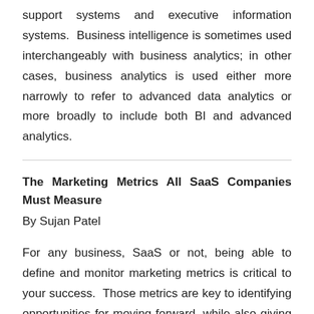support systems and executive information systems. Business intelligence is sometimes used interchangeably with business analytics; in other cases, business analytics is used either more narrowly to refer to advanced data analytics or more broadly to include both BI and advanced analytics.
The Marketing Metrics All SaaS Companies Must Measure
By Sujan Patel
For any business, SaaS or not, being able to define and monitor marketing metrics is critical to your success. Those metrics are key to identifying opportunities for moving forward, while also giving insight into the health and effectiveness of any marketing campaigns you're